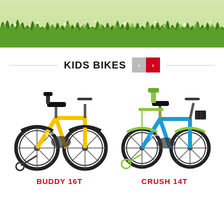[Figure (photo): Green grass field background image at top of page]
KIDS BIKES
[Figure (photo): Yellow kids bicycle - BUDDY 16T with training wheels and back seat]
BUDDY 16T
[Figure (photo): Blue and green kids bicycle - CRUSH 14T with training wheels and back seat]
CRUSH 14T